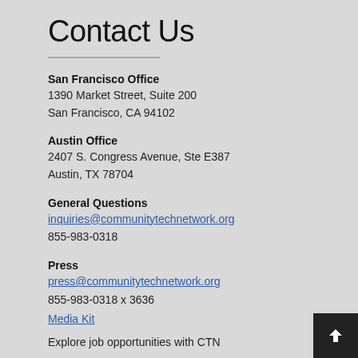Contact Us
San Francisco Office
1390 Market Street, Suite 200
San Francisco, CA 94102
Austin Office
2407 S. Congress Avenue, Ste E387
Austin, TX 78704
General Questions
inquiries@communitytechnetwork.org
855-983-0318
Press
press@communitytechnetwork.org
855-983-0318 x 3636
Media Kit
Explore job opportunities with CTN